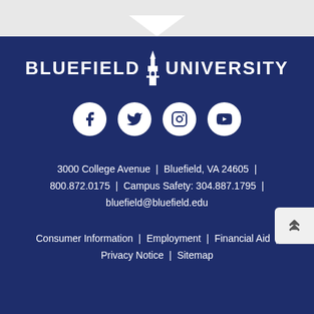[Figure (logo): Bluefield University logo with tower icon and text BLUEFIELD UNIVERSITY in white on dark navy background]
[Figure (infographic): Four social media icons: Facebook, Twitter, Instagram, YouTube — white circles on navy background]
3000 College Avenue | Bluefield, VA 24605 | 800.872.0175 | Campus Safety: 304.887.1795 | bluefield@bluefield.edu
Consumer Information | Employment | Financial Aid | Privacy Notice | Sitemap